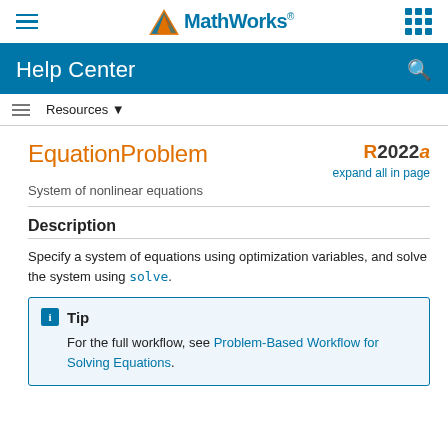MathWorks Help Center
EquationProblem
System of nonlinear equations
R2022a  expand all in page
Description
Specify a system of equations using optimization variables, and solve the system using solve.
Tip
For the full workflow, see Problem-Based Workflow for Solving Equations.